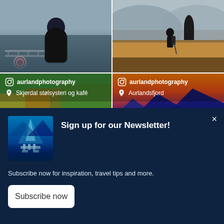[Figure (photo): Person in dark jacket taking a selfie on a ferry, orange life preserver visible, grey water background]
[Figure (photo): Hiker silhouette standing on rocky hillside with fjord and mountains in background, autumn colors]
[Figure (photo): Aerial view of forested mountains with fjord, Instagram overlay: aurlandphotography, Skjerdal stølsysteri og kafé]
[Figure (photo): Dramatic sunset over Aurlandsfjord with mountain silhouettes, orange and purple sky, Instagram overlay: aurlandphotography, Aurlandsfjord]
[Figure (photo): Small thumbnail showing aerial view of fjord marina with blue water and pier]
Sign up for our Newsletter!
Subscribe now for inspiration, travel tips and more.
Subscribe now